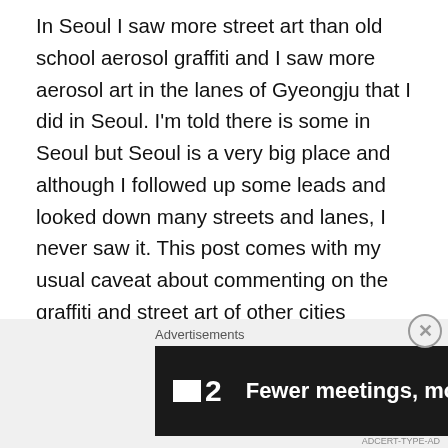In Seoul I saw more street art than old school aerosol graffiti and I saw more aerosol art in the lanes of Gyeongju that I did in Seoul. I'm told there is some in Seoul but Seoul is a very big place and although I followed up some leads and looked down many streets and lanes, I never saw it. This post comes with my usual caveat about commenting on the graffiti and street art of other cities applies here; I probably didn't know the best locations to visit, that street art is ephemeral and I was just seeing what happened upon during my travels. Normally I see some graffiti along the railway tracks when I travel by train but there was none in Korea. I saw some in the many laneways of Seoul and Gyeongju.
Advertisements
[Figure (other): Dark banner advertisement showing a logo with a white square and the number 2, alongside the text 'Fewer meetings, more work.' in white bold font on a dark background.]